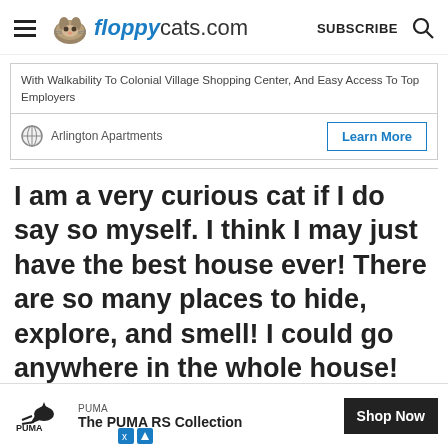floppycats.com | SUBSCRIBE
With Walkability To Colonial Village Shopping Center, And Easy Access To Top Employers
Arlington Apartments   Learn More
I am a very curious cat if I do say so myself. I think I may just have the best house ever! There are so many places to hide, explore, and smell! I could go anywhere in the whole house! They don't... ore thou... n't
[Figure (screenshot): PUMA advertisement banner at bottom: PUMA logo, 'The PUMA RS Collection', and 'Shop Now' button]